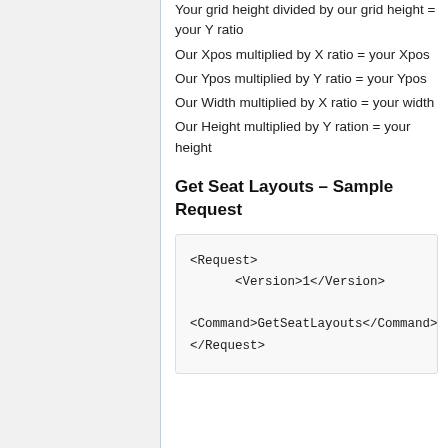Your grid height divided by our grid height = your Y ratio
Our Xpos multiplied by X ratio = your Xpos
Our Ypos multiplied by Y ratio = your Ypos
Our Width multiplied by X ratio = your width
Our Height multiplied by Y ration = your height
Get Seat Layouts – Sample Request
<Request>
      <Version>1</Version>

<Command>GetSeatLayouts</Command>
</Request>